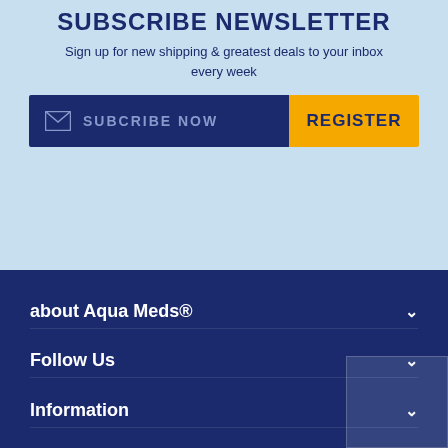SUBSCRIBE NEWSLETTER
Sign up for new shipping & greatest deals to your inbox every week
[Figure (infographic): Newsletter subscription bar with dark navy background showing envelope icon and 'SUBCRIBE NOW' text on the left, and a yellow 'REGISTER' button on the right]
[Figure (illustration): Wave divider showing light blue scallop/wave pattern transitioning to dark navy blue section below]
about Aqua Meds®
Follow Us
Information